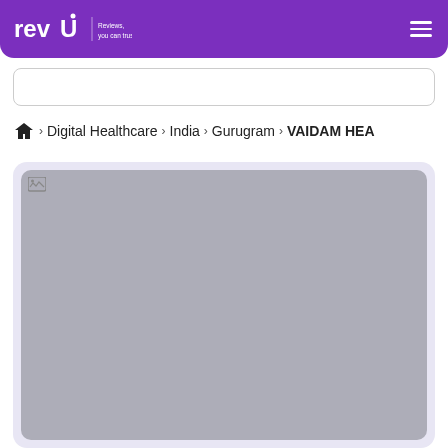revU Reviews, you can trust
Digital Healthcare › India › Gurugram › VAIDAM HEA
[Figure (screenshot): A placeholder image area with a gray rounded rectangle showing a broken image icon in the top-left corner, set within a light purple/lavender card container.]